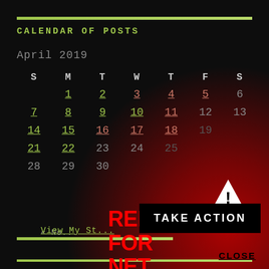CALENDAR OF POSTS
April 2019
| S | M | T | W | T | F | S |
| --- | --- | --- | --- | --- | --- | --- |
|  | 1 | 2 | 3 | 4 | 5 | 6 |
| 7 | 8 | 9 | 10 | 11 | 12 | 13 |
| 14 | 15 | 16 | 17 | 18 | 19 |  |
| 21 | 22 | 23 | 24 | 25 |  |  |
| 28 | 29 | 30 |  |  |  |  |
[Figure (infographic): Red Alert for Net Neutrality overlay with warning triangle icon, red background glow, bold red text reading RED ALERT FOR NET NEUTRALITY, and a black TAKE ACTION button]
View My St…
CLOSE